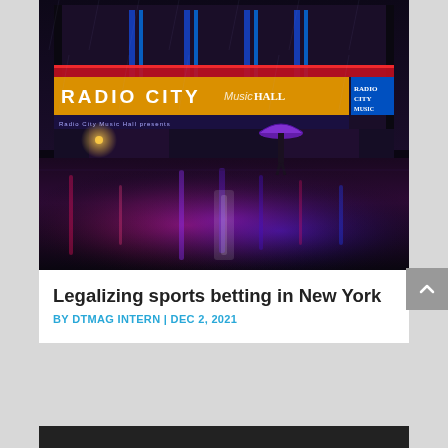[Figure (photo): Nighttime rainy street scene in New York City with Radio City Music Hall illuminated in neon lights (red, blue, purple). A person with a purple umbrella stands on the reflective wet street.]
Legalizing sports betting in New York
BY DTMAG INTERN | DEC 2, 2021